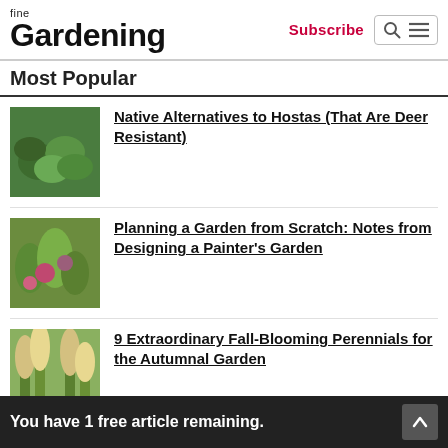fine Gardening | Subscribe
Most Popular
Native Alternatives to Hostas (That Are Deer Resistant)
Planning a Garden from Scratch: Notes from Designing a Painter's Garden
9 Extraordinary Fall-Blooming Perennials for the Autumnal Garden
You have 1 free article remaining.